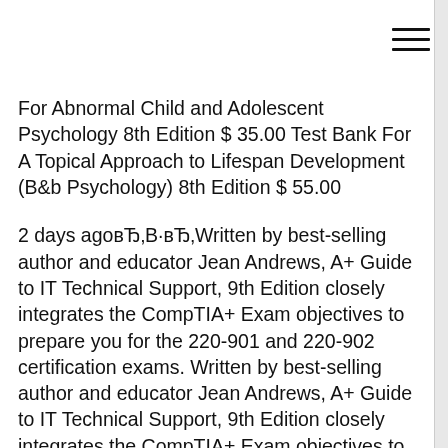[Figure (other): Hamburger menu icon (three horizontal lines) in top-right corner]
For Abnormal Child and Adolescent Psychology 8th Edition $ 35.00 Test Bank For A Topical Approach to Lifespan Development (B&b Psychology) 8th Edition $ 55.00
2 days agoвЂ‚В·вЂ‚Written by best-selling author and educator Jean Andrews, A+ Guide to IT Technical Support, 9th Edition closely integrates the CompTIA+ Exam objectives to prepare you for the 220-901 and 220-902 certification exams. Written by best-selling author and educator Jean Andrews, A+ Guide to IT Technical Support, 9th Edition closely integrates the CompTIA+ Exam objectives to prepare you for the 220-901 and 220-902